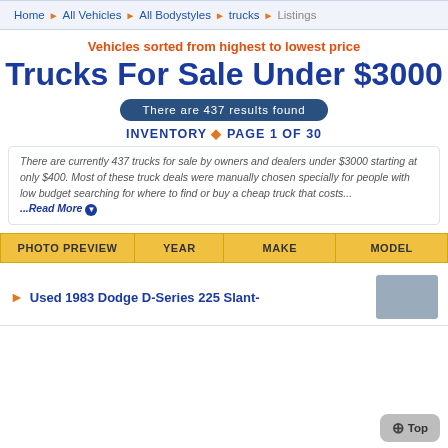Home ▶ All Vehicles ▶ All Bodystyles ▶ trucks ▶ Listings
Vehicles sorted from highest to lowest price
Trucks For Sale Under $3000
There are 437 results found
INVENTORY ◆ PAGE 1 OF 30
There are currently 437 trucks for sale by owners and dealers under $3000 starting at only $400. Most of these truck deals were manually chosen specially for people with low budget searching for where to find or buy a cheap truck that costs ...Read More
| PHOTO PREVIEW | YEAR | MAKE | MODEL |
| --- | --- | --- | --- |
▶ Used 1983 Dodge D-Series 225 Slant-